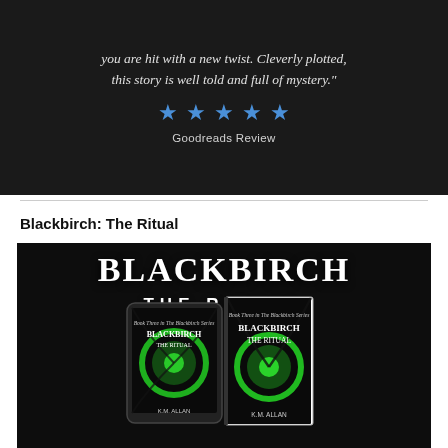[Figure (other): Dark background review banner showing italic quote text 'you are hit with a new twist. Cleverly plotted, this story is well told and full of mystery.' followed by five blue stars and 'Goodreads Review' label.]
Blackbirch: The Ritual
[Figure (illustration): Dark promotional image for book 'Blackbirch: The Ritual' by K.M. Allan showing large title text 'BLACKBIRCH THE RITUAL' at top and two book mockups (tablet and physical hardcover) featuring a green glowing eye/circle design on dark background.]